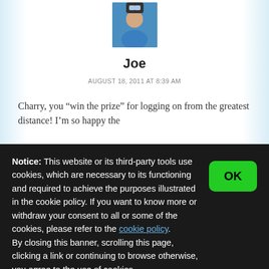[Figure (photo): Avatar photo of a man smiling, wearing glasses and a blue shirt]
Joe
AUGUST 18, 2011 AT 8:39 AM
Charry, you “win the prize” for logging on from the greatest distance! I’m so happy the
Notice: This website or its third-party tools use cookies, which are necessary to its functioning and required to achieve the purposes illustrated in the cookie policy. If you want to know more or withdraw your consent to all or some of the cookies, please refer to the cookie policy.
By closing this banner, scrolling this page, clicking a link or continuing to browse otherwise, you agree to the use of cookies.